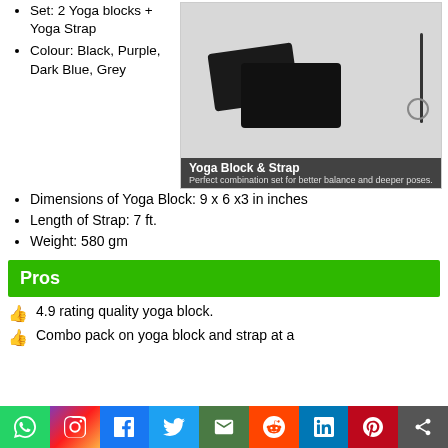Set: 2 Yoga blocks + Yoga Strap
[Figure (photo): Photo of black yoga blocks and yoga strap set with label 'Yoga Block & Strap - Perfect combination set for better balance and deeper poses.']
Colour: Black, Purple, Dark Blue, Grey
Dimensions of Yoga Block: 9 x 6 x3 in inches
Length of Strap: 7 ft.
Weight: 580 gm
Pros
4.9 rating quality yoga block.
Combo pack on yoga block and strap at a
[Figure (infographic): Social media share bar with icons for WhatsApp, Instagram, Facebook, Twitter, Email, Reddit, LinkedIn, Pinterest, and Share]